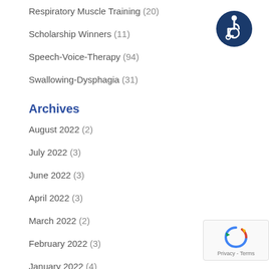Respiratory Muscle Training (20)
Scholarship Winners (11)
Speech-Voice-Therapy (94)
Swallowing-Dysphagia (31)
Archives
August 2022 (2)
July 2022 (3)
June 2022 (3)
April 2022 (3)
March 2022 (2)
February 2022 (3)
January 2022 (4)
December 2021 (2)
[Figure (logo): Accessibility icon: white wheelchair user on dark blue circle background]
[Figure (logo): reCAPTCHA badge with Privacy and Terms links]